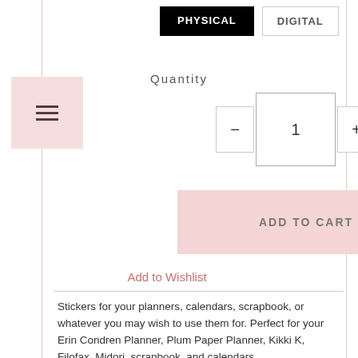[Figure (screenshot): Two toggle buttons: PHYSICAL (black filled) and DIGITAL (white outlined)]
Quantity
[Figure (other): Quantity selector with minus button, input field showing 1, and plus button]
[Figure (other): ADD TO CART button in pink]
Add to Wishlist
Stickers for your planners, calendars, scrapbook, or whatever you may wish to use them for. Perfect for your Erin Condren Planner, Plum Paper Planner, Kikki K, Filofax, Midori, scrapbook, and calendars.
++++++++++++++++++++++++
PHYSICAL STICKERS
These sticker sheets can fit any kind of planner. Very